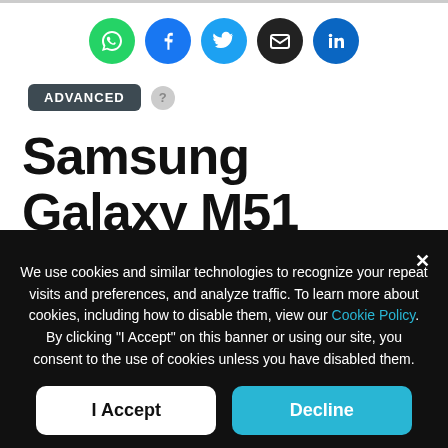[Figure (infographic): Row of five social sharing icon buttons: WhatsApp (green), Facebook (blue), Twitter (light blue), Email (black), LinkedIn (blue)]
ADVANCED
Samsung Galaxy M51 Battery test: An autonomy monster
We use cookies and similar technologies to recognize your repeat visits and preferences, and analyze traffic. To learn more about cookies, including how to disable them, view our Cookie Policy. By clicking "I Accept" on this banner or using our site, you consent to the use of cookies unless you have disabled them.
I Accept
Decline